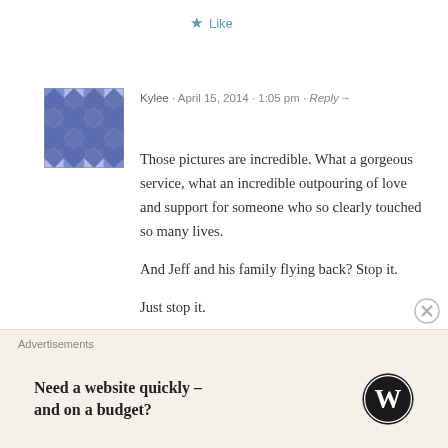★ Like
[Figure (illustration): Blue geometric quilted avatar for user Kylee]
Kylee · April 15, 2014 · 1:05 pm · Reply→
Those pictures are incredible. What a gorgeous service, what an incredible outpouring of love and support for someone who so clearly touched so many lives.

And Jeff and his family flying back? Stop it.

Just stop it.

Sigh.

The world IS still full of so many good people.
★ Like
Advertisements
Need a website quickly – and on a budget?